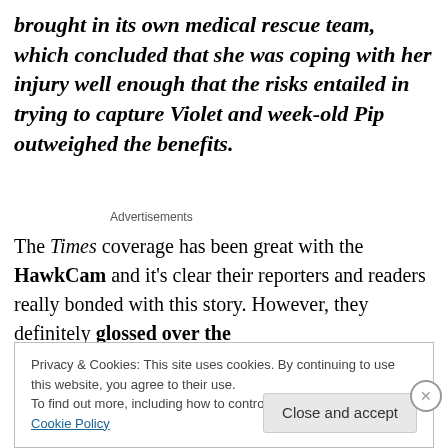brought in its own medical rescue team, which concluded that she was coping with her injury well enough that the risks entailed in trying to capture Violet and week-old Pip outweighed the benefits.
Advertisements
The Times coverage has been great with the HawkCam and it's clear their reporters and readers really bonded with this story. However, they definitely glossed over the
Privacy & Cookies: This site uses cookies. By continuing to use this website, you agree to their use.
To find out more, including how to control cookies, see here: Cookie Policy
Close and accept